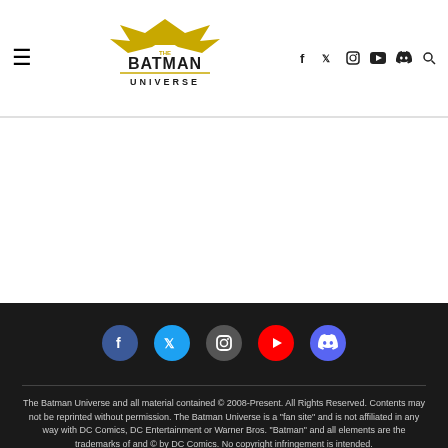The Batman Universe - header with logo and navigation icons
[Figure (logo): The Batman Universe logo - bat silhouette above text BATMAN UNIVERSE in yellow/gold]
The Batman Universe and all material contained © 2008-Present. All Rights Reserved. Contents may not be reprinted without permission. The Batman Universe is a "fan site" and is not affiliated in any way with DC Comics, DC Entertainment or Warner Bros. "Batman" and all elements are the trademarks of and © by DC Comics. No copyright infringement is intended.